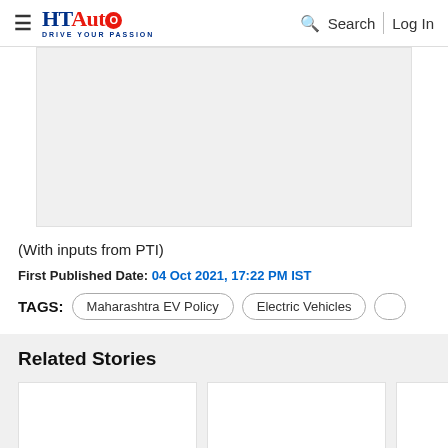HT Auto - Drive Your Passion | Search | Log In
[Figure (other): Advertisement placeholder banner (gray rectangle)]
(With inputs from PTI)
First Published Date: 04 Oct 2021, 17:22 PM IST
TAGS: Maharashtra EV Policy | Electric Vehicles
Related Stories
[Figure (other): Three related story card thumbnails (white rectangles)]